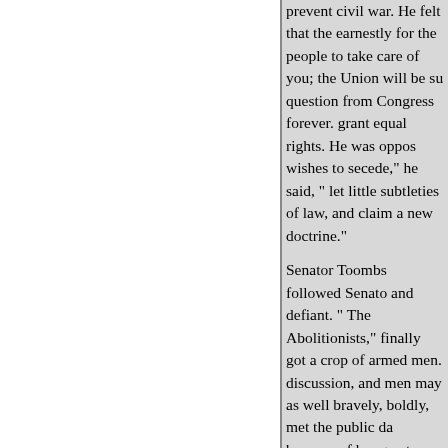prevent civil war. He felt that the earnestly for the people to take care of you; the Union will be su question from Congress forever. grant equal rights. He was oppos wishes to secede," he said, " let little subtleties of law, and claim a new doctrine."
Senator Toombs followed Senato and defiant. " The Abolitionists," finally got a crop of armed men. discussion, and men may as well bravely, boldly, met the public da because of her greater facility of consider her cause as their cause to the Constitution, to justice, an Now, Sir," he said, "you may see Capital to the Rio Grande."
Toombs then proceeded, with gr demands. "They are what you," term. I believe for all the acts wh them as good a traitor and as go demand ?" The right, he said,